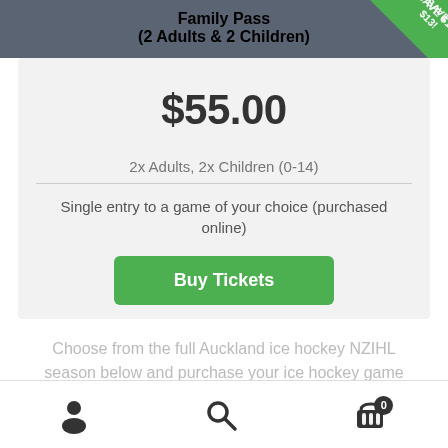Family Pass (2 Adults & 2 Children)
$55.00
2x Adults, 2x Children (0-14)
Single entry to a game of your choice (purchased online)
Buy Tickets
Choose from the full Auckland ice hockey NZIHL season below and purchase your ice hockey game